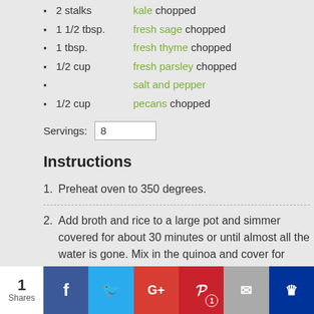2 stalks kale chopped
1 1/2 tbsp. fresh sage chopped
1 tbsp. fresh thyme chopped
1/2 cup fresh parsley chopped
salt and pepper
1/2 cup pecans chopped
Servings: 8
Instructions
1. Preheat oven to 350 degrees.
2. Add broth and rice to a large pot and simmer covered for about 30 minutes or until almost all the water is gone. Mix in the quinoa and cover for about 15 more minutes so all the water is absorbed. Set aside.